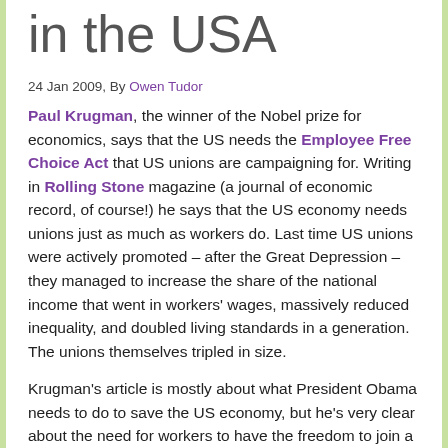in the USA
24 Jan 2009, By Owen Tudor
Paul Krugman, the winner of the Nobel prize for economics, says that the US needs the Employee Free Choice Act that US unions are campaigning for. Writing in Rolling Stone magazine (a journal of economic record, of course!) he says that the US economy needs unions just as much as workers do. Last time US unions were actively promoted – after the Great Depression – they managed to increase the share of the national income that went in workers' wages, massively reduced inequality, and doubled living standards in a generation. The unions themselves tripled in size.
Krugman's article is mostly about what President Obama needs to do to save the US economy, but he's very clear about the need for workers to have the freedom to join a union, and it's a very persuasive argument, because one of the root causes of the